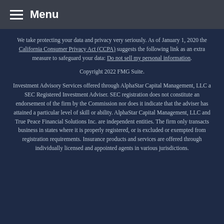Menu
We take protecting your data and privacy very seriously. As of January 1, 2020 the California Consumer Privacy Act (CCPA) suggests the following link as an extra measure to safeguard your data: Do not sell my personal information.
Copyright 2022 FMG Suite.
Investment Advisory Services offered through AlphaStar Capital Management, LLC a SEC Registered Investment Adviser. SEC registration does not constitute an endorsement of the firm by the Commission nor does it indicate that the adviser has attained a particular level of skill or ability. AlphaStar Capital Management, LLC and True Peace Financial Solutions Inc. are independent entities. The firm only transacts business in states where it is properly registered, or is excluded or exempted from registration requirements. Insurance products and services are offered through individually licensed and appointed agents in various jurisdictions.